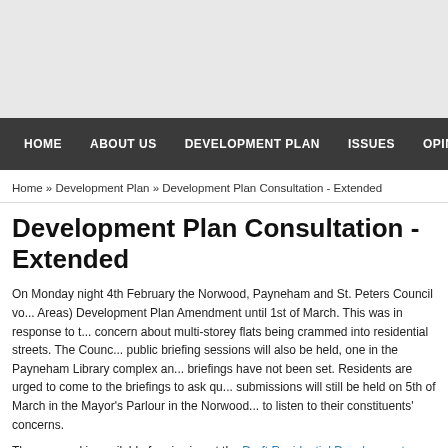HOME   ABOUT US   DEVELOPMENT PLAN   ISSUES   OPINION
Home » Development Plan » Development Plan Consultation - Extended
Development Plan Consultation - Extended
On Monday night 4th February the Norwood, Payneham and St. Peters Council vo... Areas) Development Plan Amendment until 1st of March. This was in response to t... concern about multi-storey flats being crammed into residential streets. The Counc... public briefing sessions will also be held, one in the Payneham Library complex an... briefings have not been set. Residents are urged to come to the briefings to ask qu... submissions will still be held on 5th of March in the Mayor's Parlour in the Norwood... to listen to their constituents' concerns.
The proposal is available for viewing at the Draft Residential Development (Zones... Residential Development (Zones and Policy Areas) DPA (13050 kb) has a map sho... proposed policies, including which areas are earmarked for 4 and 6 storey develop...
We have updated the Respond to Development Plan with information on how to m...